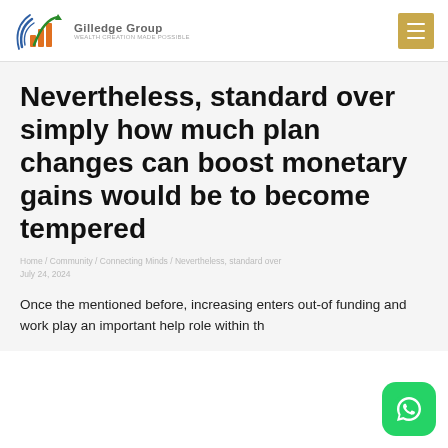Nevertheless, standard over simply how much plan changes can boost monetary gains would be to become tempered
Once the mentioned before, increasing enters out-of funding and work play an important help role within the